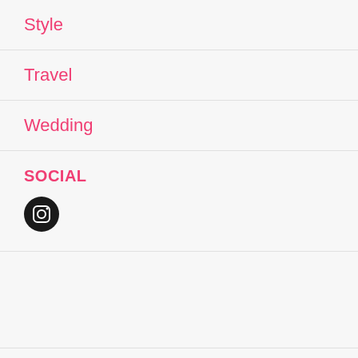Style
Travel
Wedding
SOCIAL
[Figure (logo): Instagram icon — black circle with white rounded square camera icon inside]